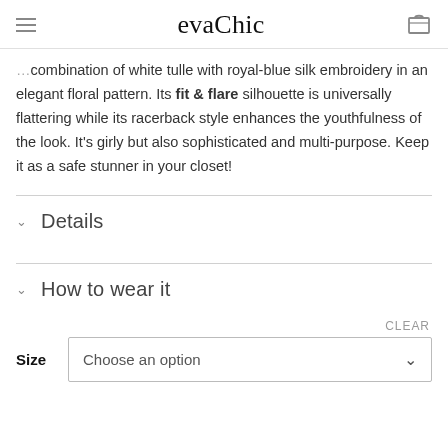evaChic
combination of white tulle with royal-blue silk embroidery in an elegant floral pattern. Its fit & flare silhouette is universally flattering while its racerback style enhances the youthfulness of the look. It’s girly but also sophisticated and multi-purpose. Keep it as a safe stunner in your closet!
Details
How to wear it
CLEAR
Size	Choose an option